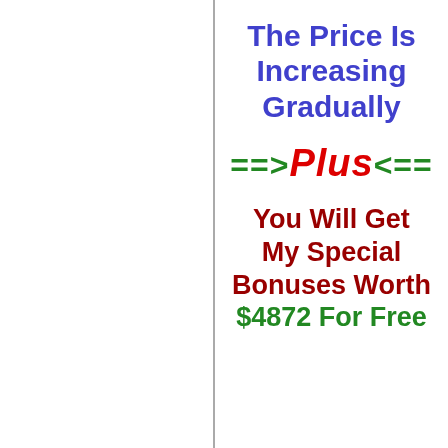The Price Is Increasing Gradually
==>Plus<==
You Will Get My Special Bonuses Worth $4872 For Free